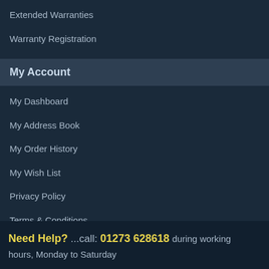Extended Warranties
Warranty Registration
My Account
My Dashboard
My Address Book
My Order History
My Wish List
Privacy Policy
Terms & Conditions
Need Help? ...call: 01273 628618 during working hours, Monday to Saturday